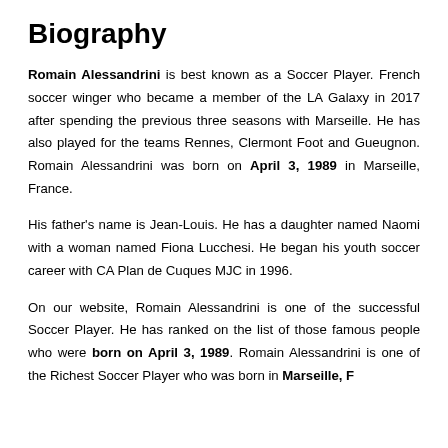Biography
Romain Alessandrini is best known as a Soccer Player. French soccer winger who became a member of the LA Galaxy in 2017 after spending the previous three seasons with Marseille. He has also played for the teams Rennes, Clermont Foot and Gueugnon. Romain Alessandrini was born on April 3, 1989 in Marseille, France.
His father's name is Jean-Louis. He has a daughter named Naomi with a woman named Fiona Lucchesi. He began his youth soccer career with CA Plan de Cuques MJC in 1996.
On our website, Romain Alessandrini is one of the successful Soccer Player. He has ranked on the list of those famous people who were born on April 3, 1989. Romain Alessandrini is one of the Richest Soccer Player who was born in Marseille, France.